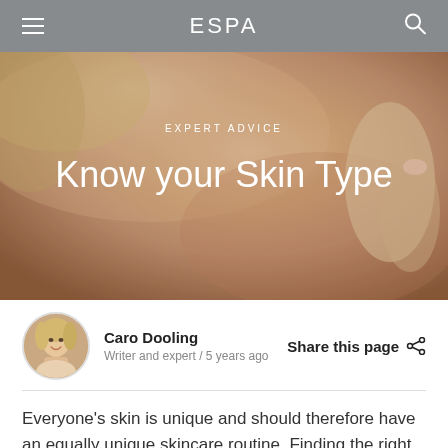ESPA
[Figure (photo): Close-up photo of a woman's smooth skin, blond hair, and manicured hand against a warm peach/tan background. Text overlay: 'EXPERT ADVICE' and 'Know your Skin Type']
EXPERT ADVICE
Know your Skin Type
Caro Dooling
Writer and expert / 5 years ago
Share this page
Everyone’s skin is unique and should therefore have an equally unique skincare routine. Finding the right set of products for your skin type though, isn’t always easy. To